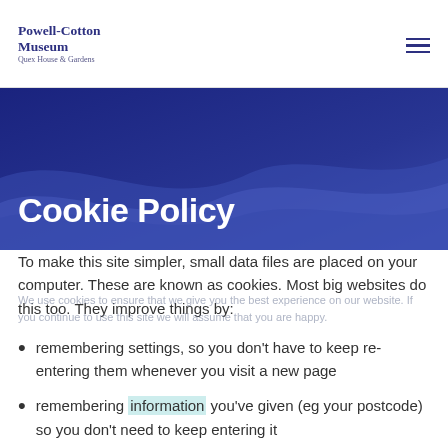Powell-Cotton Museum Quex House & Gardens
Cookie Policy
To make this site simpler, small data files are placed on your computer. These are known as cookies. Most big websites do this too. They improve things by:
remembering settings, so you don't have to keep re-entering them whenever you visit a new page
remembering information you've given (eg your postcode) so you don't need to keep entering it